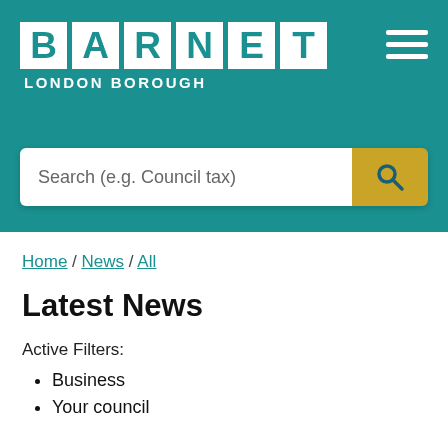[Figure (logo): Barnet London Borough logo with teal background, white square letter tiles spelling BARNET and LONDON BOROUGH subtitle, plus hamburger menu icon top right]
Search (e.g. Council tax)
Home / News / All
Latest News
Active Filters:
Business
Your council